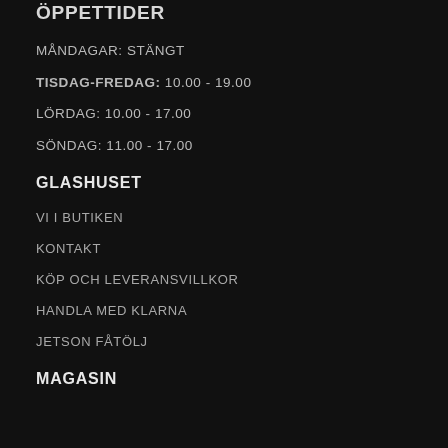ÖPPETTIDER
MÅNDAGAR: STÄNGT
TISDAG-FREDAG: 10.00 - 19.00
LÖRDAG: 10.00 - 17.00
SÖNDAG: 11.00 - 17.00
GLASHUSET
VI I BUTIKEN
KONTAKT
KÖP OCH LEVERANSVILLKOR
HANDLA MED KLARNA
JETSON FÅTÖLJ
MAGASIN